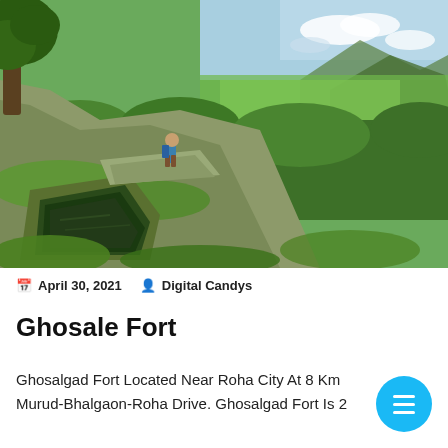[Figure (photo): Aerial view of Ghosale (Ghosalgad) Fort showing a person standing near a natural rock-cut water cistern surrounded by lush green moss, with a dense forested landscape and mountains in the background under a partly cloudy sky.]
April 30, 2021   Digital Candys
Ghosale Fort
Ghosalgad Fort Located Near Roha City At 8 Km Murud-Bhalgaon-Roha Drive. Ghosalgad Fort Is 2...